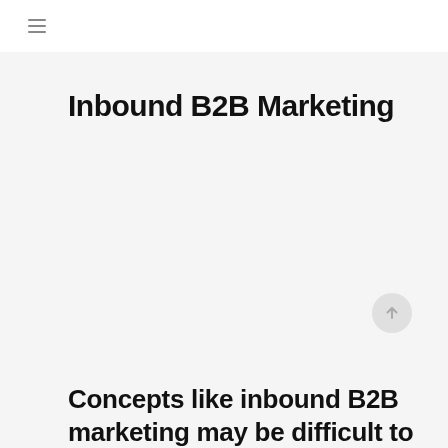≡
Inbound B2B Marketing
Concepts like inbound B2B marketing may be difficult to